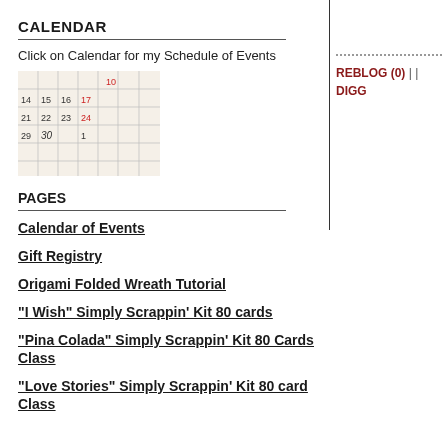CALENDAR
Click on Calendar for my Schedule of Events
[Figure (photo): A calendar image showing dates 10, 14-17, 21-24, 29-30]
PAGES
Calendar of Events
Gift Registry
Origami Folded Wreath Tutorial
"I Wish" Simply Scrappin' Kit 80 cards
"Pina Colada" Simply Scrappin' Kit 80 Cards Class
"Love Stories" Simply Scrappin' Kit 80 card Class
REBLOG (0) | | DIGG